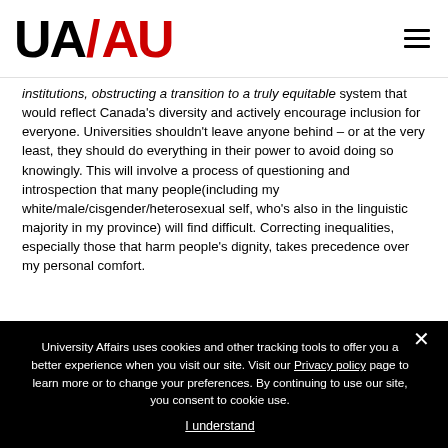UA/AU logo and navigation
institutions, obstructing a transition to a truly equitable system that would reflect Canada's diversity and actively encourage inclusion for everyone. Universities shouldn't leave anyone behind – or at the very least, they should do everything in their power to avoid doing so knowingly. This will involve a process of questioning and introspection that many people(including my white/male/cisgender/heterosexual self, who's also in the linguistic majority in my province) will find difficult. Correcting inequalities, especially those that harm people's dignity, takes precedence over my personal comfort.
University Affairs uses cookies and other tracking tools to offer you a better experience when you visit our site. Visit our Privacy policy page to learn more or to change your preferences. By continuing to use our site, you consent to cookie use. I understand